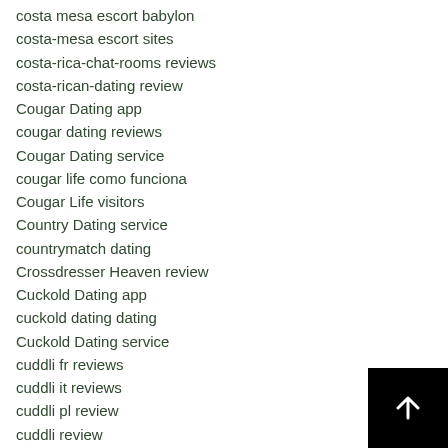costa mesa escort babylon
costa-mesa escort sites
costa-rica-chat-rooms reviews
costa-rican-dating review
Cougar Dating app
cougar dating reviews
Cougar Dating service
cougar life como funciona
Cougar Life visitors
Country Dating service
countrymatch dating
Crossdresser Heaven review
Cuckold Dating app
cuckold dating dating
Cuckold Dating service
cuddli fr reviews
cuddli it reviews
cuddli pl review
cuddli review